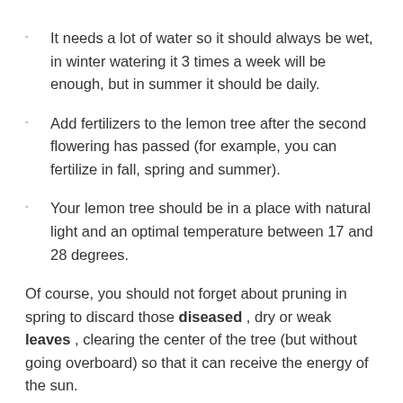It needs a lot of water so it should always be wet, in winter watering it 3 times a week will be enough, but in summer it should be daily.
Add fertilizers to the lemon tree after the second flowering has passed (for example, you can fertilize in fall, spring and summer).
Your lemon tree should be in a place with natural light and an optimal temperature between 17 and 28 degrees.
Of course, you should not forget about pruning in spring to discard those diseased , dry or weak leaves , clearing the center of the tree (but without going overboard) so that it can receive the energy of the sun.